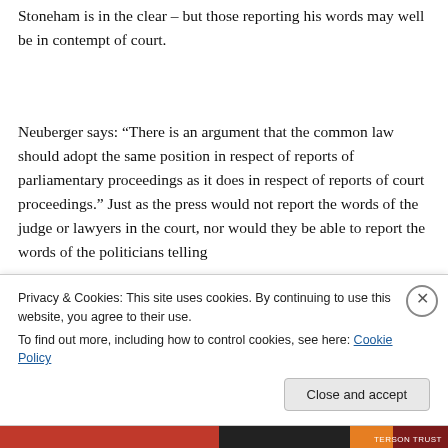Stoneham is in the clear – but those reporting his words may well be in contempt of court.
Neuberger says: “There is an argument that the common law should adopt the same position in respect of reports of parliamentary proceedings as it does in respect of reports of court proceedings.” Just as the press would not report the words of the judge or lawyers in the court, nor would they be able to report the words of the politicians telling
Privacy & Cookies: This site uses cookies. By continuing to use this website, you agree to their use.
To find out more, including how to control cookies, see here: Cookie Policy